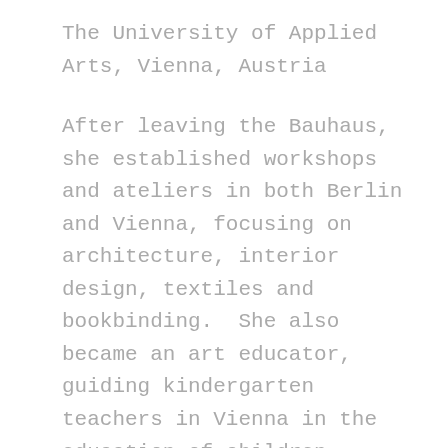The University of Applied Arts, Vienna, Austria
After leaving the Bauhaus, she established workshops and ateliers in both Berlin and Vienna, focusing on architecture, interior design, textiles and bookbinding.  She also became an art educator, guiding kindergarten teachers in Vienna in the education of children.
Dicker continued with both her own work and teaching for several years, and even produced a series of political posters in support of the Austrian Communist Party.  During the February Uprising in 1934 she was arrested and interrogated regarding her communist activities.  After her release, she moved to Prague, continued her creative activities, and met and married Pavel Brandeis on 30 April 1936.  There